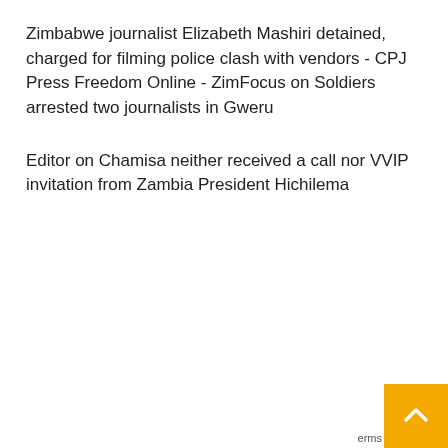Zimbabwe journalist Elizabeth Mashiri detained, charged for filming police clash with vendors - CPJ Press Freedom Online - ZimFocus on Soldiers arrested two journalists in Gweru
Editor on Chamisa neither received a call nor VVIP invitation from Zambia President Hichilema